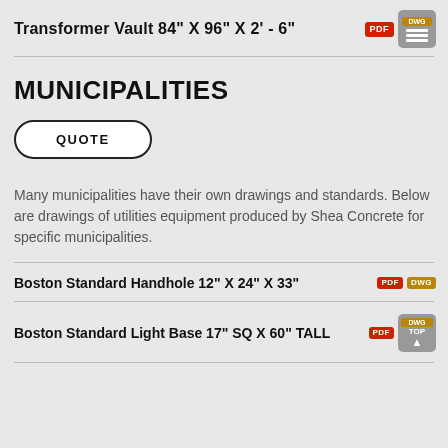Transformer Vault 84" X 96" X 2' - 6"
MUNICIPALITIES
QUOTE
Many municipalities have their own drawings and standards. Below are drawings of utilities equipment produced by Shea Concrete for specific municipalities.
Boston Standard Handhole 12" X 24" X 33"
Boston Standard Light Base 17" SQ X 60" TALL